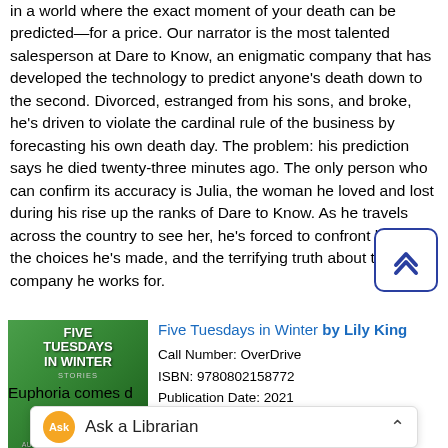in a world where the exact moment of your death can be predicted—for a price. Our narrator is the most talented salesperson at Dare to Know, an enigmatic company that has developed the technology to predict anyone's death down to the second. Divorced, estranged from his sons, and broke, he's driven to violate the cardinal rule of the business by forecasting his own death day. The problem: his prediction says he died twenty-three minutes ago. The only person who can confirm its accuracy is Julia, the woman he loved and lost during his rise up the ranks of Dare to Know. As he travels across the country to see her, he's forced to confront his past, the choices he's made, and the terrifying truth about the company he works for.
[Figure (illustration): Book cover for Five Tuesdays in Winter by Lily King — green illustrated cover with floral/abstract elements, white title text, and author name at the bottom]
Five Tuesdays in Winter by Lily King
Call Number: OverDrive
ISBN: 9780802158772
Publication Date: 2021
By...
[Figure (screenshot): Ask a Librarian chat widget bar at the bottom of the screen with orange chat bubble icon and chevron]